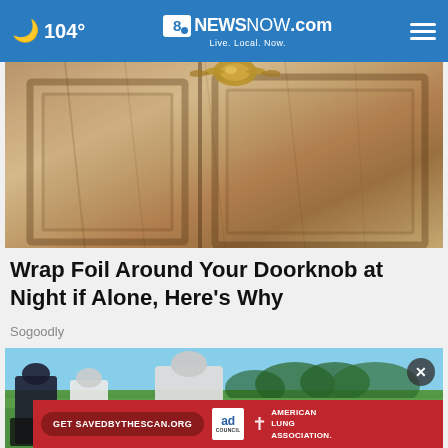104° | 8NewsNow.com | Live. Local. Now.
[Figure (photo): Close-up of a wooden door with a decorative brass doorknob/knocker, viewed from below at an angle]
Wrap Foil Around Your Doorknob at Night if Alone, Here's Why
Sogoodly
[Figure (photo): Men playing golf on a sunny day outdoors with trees in background. An ad banner overlay shows: Get SAVEDBYTHESCAN.ORG, ad council logo, and American Lung Association branding.]